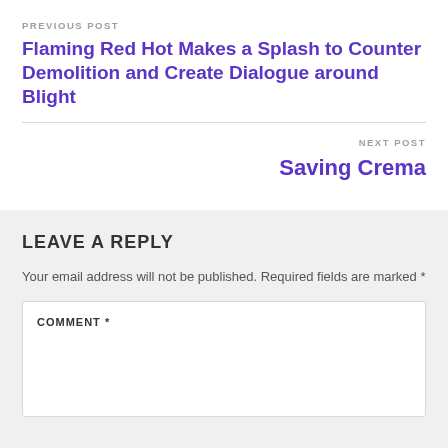PREVIOUS POST
Flaming Red Hot Makes a Splash to Counter Demolition and Create Dialogue around Blight
NEXT POST
Saving Crema
LEAVE A REPLY
Your email address will not be published. Required fields are marked *
COMMENT *